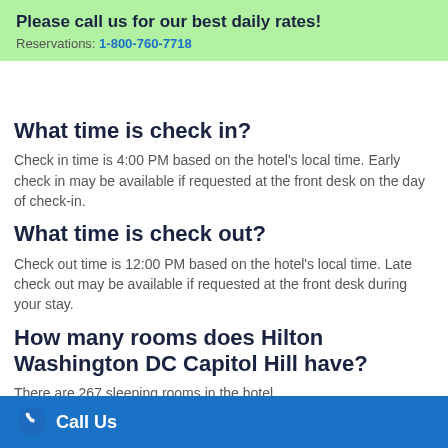Please call us for our best daily rates!
Reservations: 1-800-760-7718
What time is check in?
Check in time is 4:00 PM based on the hotel's local time. Early check in may be available if requested at the front desk on the day of check-in.
What time is check out?
Check out time is 12:00 PM based on the hotel's local time. Late check out may be available if requested at the front desk during your stay.
How many rooms does Hilton Washington DC Capitol Hill have?
There are 267 sleeping rooms in the hotel.
Is there any meeting space at Hilton Washington DC Capitol Hill?
Call Us